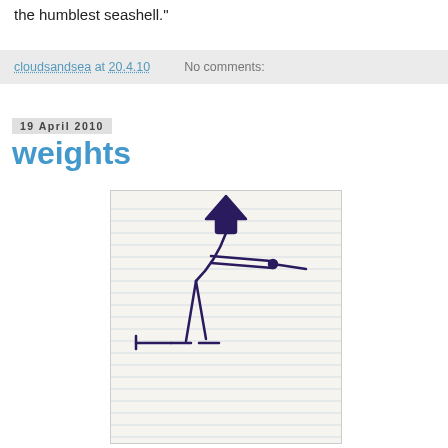the humblest seashell."
cloudsandsea at 20.4.10   No comments:
19 April 2010
weights
[Figure (illustration): A hand-drawn ink sketch on lined notebook paper showing a stick figure bent forward at the waist, wearing a triangular hat, holding something extended in both hands out to the right side, with legs spread apart. The figure appears to be straining or pushing against weight.]